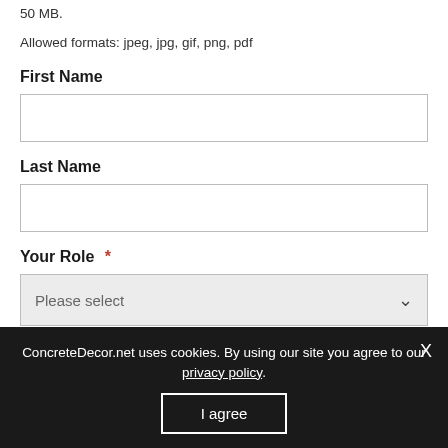50 MB.
Allowed formats: jpeg, jpg, gif, png, pdf
First Name
[Figure (other): Empty text input field for First Name]
Last Name
[Figure (other): Empty text input field for Last Name]
Your Role  *
[Figure (other): Dropdown select field with placeholder 'Please select']
ConcreteDecor.net uses cookies. By using our site you agree to our privacy policy.
I agree